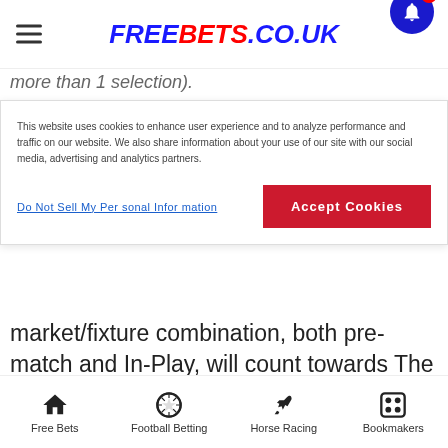FREEBETS.CO.UK
more than 1 selection).
This website uses cookies to enhance user experience and to analyze performance and traffic on our website. We also share information about your use of our site with our social media, advertising and analytics partners.
Do Not Sell My Personal Information | Accept Cookies
market/fixture combination, both pre-match and In-Play, will count towards The Wagering Requirements. Any subsequent bets placed on other selections in the same market/fixture combination will not count towards The Wagering Requirements. This term is applied in conjunction with the other restrictions. As an example, once you have qualified, a bet on Man Utd to beat Liverpool on the Full Time Result market at odds
Free Bets  Football Betting  Horse Racing  Bookmakers